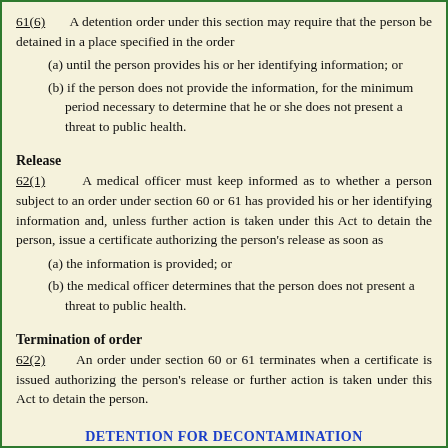61(6)   A detention order under this section may require that the person be detained in a place specified in the order
(a) until the person provides his or her identifying information; or
(b) if the person does not provide the information, for the minimum period necessary to determine that he or she does not present a threat to public health.
Release
62(1)   A medical officer must keep informed as to whether a person subject to an order under section 60 or 61 has provided his or her identifying information and, unless further action is taken under this Act to detain the person, issue a certificate authorizing the person's release as soon as
(a) the information is provided; or
(b) the medical officer determines that the person does not present a threat to public health.
Termination of order
62(2)   An order under section 60 or 61 terminates when a certificate is issued authorizing the person's release or further action is taken under this Act to detain the person.
DETENTION FOR DECONTAMINATION
Temporary detention for decontamination